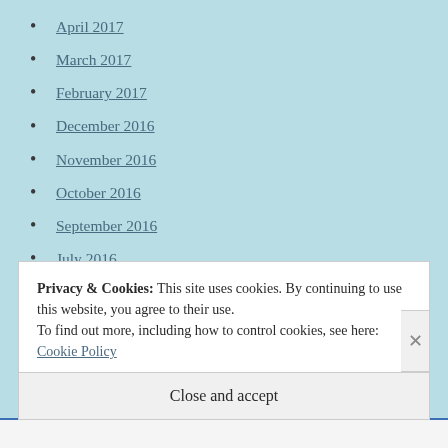April 2017
March 2017
February 2017
December 2016
November 2016
October 2016
September 2016
July 2016
June 2016
May 2016
April 2016
Privacy & Cookies: This site uses cookies. By continuing to use this website, you agree to their use.
To find out more, including how to control cookies, see here: Cookie Policy
Close and accept